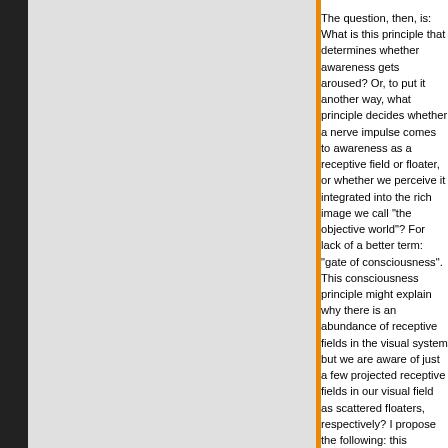The question, then, is: What is this principle that determines whether awareness gets aroused? Or, to put it another way, what principle decides whether a nerve impulse comes to awareness as a receptive field or floater, or whether we perceive it integrated into the rich image we call "the objective world"? For lack of a better term: "gate of consciousness". This consciousness principle might explain why there is an abundance of receptive fields in the visual system but we are aware of just a few projected receptive fields in our visual field as scattered floaters, respectively? I propose the following: this abundance can actually be seen as entoptic phenomena at any time – e.g. by squinting at the sun (Tausin 2010). On the other hand, floaters are indeed experienced as specific and personal objects, and the consciousness principle brings a certain pattern to awareness on an early level of neuronal processing. Referring to anthropological studies on entoptic phenomena and altered states (Reichel-Dolmatoff 1978; Klüver 1966), I suggest that a person does this according to the current state of consciousness. Following this line of thinking, one might say that what we see is a visual correlate of our current state of consciousness. This is why floaters may have a spiritual significance to some individuals who practice as a meditative investigation of one's own consciousness.
Movement
Another question concerns the obvious movement of floaters as a visual expression of immobile receptive fields in the retina, LGN, and the cortices – how can we understand their movement, even influenced by our own eye movements?